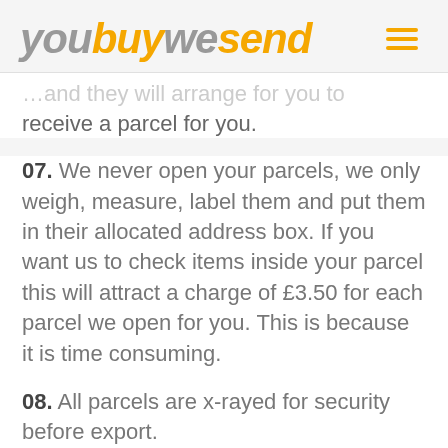youbuywesend
receive a parcel for you.
07. We never open your parcels, we only weigh, measure, label them and put them in their allocated address box. If you want us to check items inside your parcel this will attract a charge of £3.50 for each parcel we open for you. This is because it is time consuming.
08. All parcels are x-rayed for security before export.
09. The following items are not allowed.
Gambling, Pornography, Counterfeit Goods,